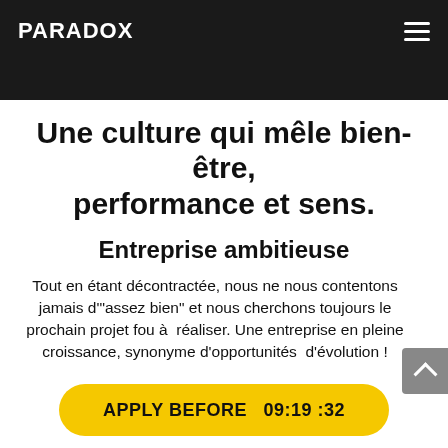PARADOX
Une culture qui mêle bien-être, performance et sens.
Entreprise ambitieuse
Tout en étant décontractée, nous ne nous contentons jamais d'"assez bien" et nous cherchons toujours le prochain projet fou à réaliser. Une entreprise en pleine croissance, synonyme d'opportunités d'évolution !
APPLY BEFORE   09:19 :32